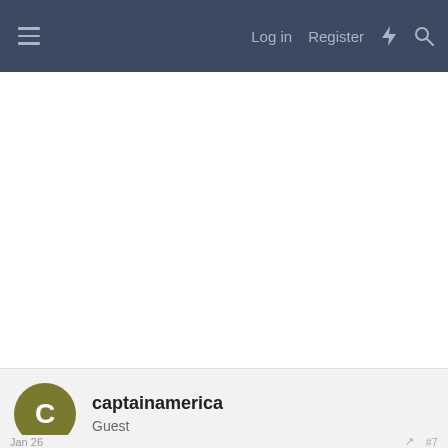≡   Log in   Register   ⚡   🔍
[Figure (screenshot): White empty content area (advertisement or content placeholder)]
captainamerica
Guest
[Figure (screenshot): CVS Pharmacy advertisement banner showing: In-store shopping, Drive-through, Delivery with navigation arrow icon]